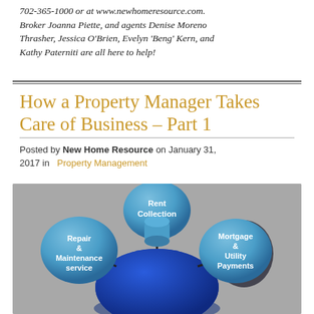702-365-1000 or at www.newhomeresource.com. Broker Joanna Piette, and agents Denise Moreno Thrasher, Jessica O'Brien, Evelyn 'Beng' Kern, and Kathy Paterniti are all here to help!
How a Property Manager Takes Care of Business – Part 1
Posted by New Home Resource on January 31, 2017 in  Property Management
[Figure (infographic): A 3D infographic diagram showing a central dark blue dome/hub with three connected blue spherical bubbles labeled: 'Rent Collection' (top center), 'Repair & Maintenance service' (left), and 'Mortgage & Utility Payments' (right). The spheres are connected to the central hub with dark lines against a gray background.]